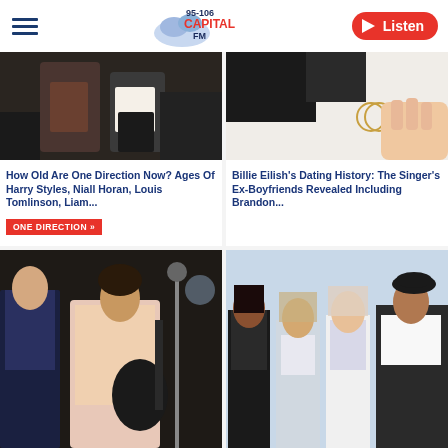[Figure (logo): Capital FM 95-106 logo with hamburger menu and Listen button]
[Figure (photo): Photo of One Direction members, dark clothing, concert setting]
How Old Are One Direction Now? Ages Of Harry Styles, Niall Horan, Louis Tomlinson, Liam...
ONE DIRECTION »
[Figure (photo): Photo related to Billie Eilish, accessories on white background]
Billie Eilish's Dating History: The Singer's Ex-Boyfriends Revealed Including Brandon...
[Figure (photo): Harry Styles in pink blazer playing guitar on stage; also in military jacket]
[Figure (photo): Little Mix group photo, four women posing together]